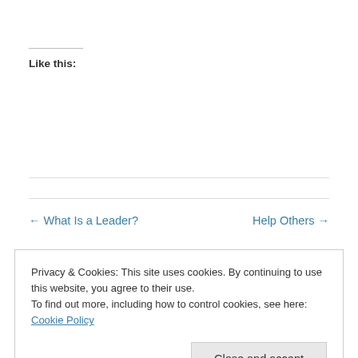Like this:
← What Is a Leader?
Help Others →
Privacy & Cookies: This site uses cookies. By continuing to use this website, you agree to their use.
To find out more, including how to control cookies, see here: Cookie Policy
Close and accept